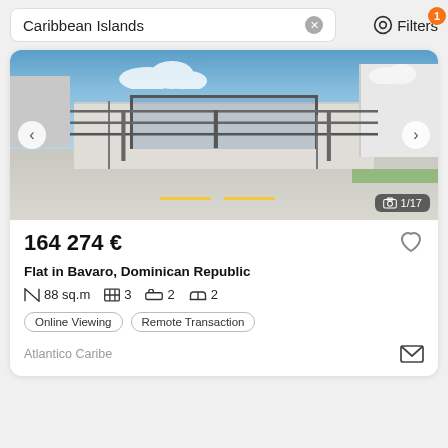Caribbean Islands
Filters 1
[Figure (photo): Exterior photo of a gated residential complex in Bavaro, Dominican Republic. Gate arch structure with white walls, building visible on right, road/parking area in foreground, blue sky with clouds. Photo counter shows 1/17.]
164 274 €
Flat in Bavaro, Dominican Republic
88 sq.m   3   2   2
Online Viewing
Remote Transaction
Atlantico Caribe